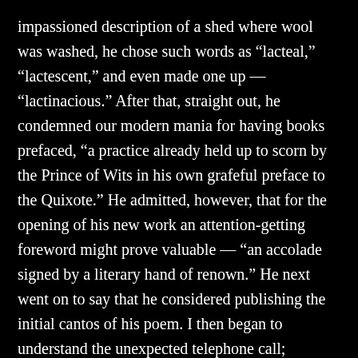impassioned description of a shed where wool was washed, he chose such words as “lacteal,” “lactescent,” and even made one up — “lactinacious.” After that, straight out, he condemned our modern mania for having books prefaced, “a practice already held up to scorn by the Prince of Wits in his own grafeful preface to the Quixote.” He admitted, however, that for the opening of his new work an attention-getting foreword might prove valuable — “an accolade signed by a literary hand of renown.” He next went on to say that he considered publishing the initial cantos of his poem. I then began to understand the unexpected telephone call;